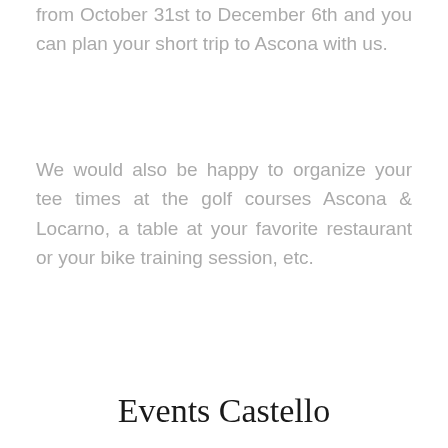from October 31st to December 6th and you can plan your short trip to Ascona with us.
We would also be happy to organize your tee times at the golf courses Ascona & Locarno, a table at your favorite restaurant or your bike training session, etc.
Events Castello